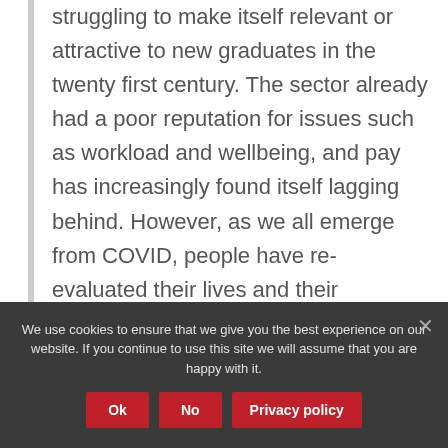struggling to make itself relevant or attractive to new graduates in the twenty first century. The sector already had a poor reputation for issues such as workload and wellbeing, and pay has increasingly found itself lagging behind. However, as we all emerge from COVID, people have re-evaluated their lives and their expectations of work, and they feel empowered to do so. According to the Office for National Statistics, there are
We use cookies to ensure that we give you the best experience on our website. If you continue to use this site we will assume that you are happy with it.